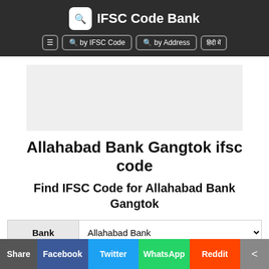IFSC Code Bank
[Figure (screenshot): Navigation bar with buttons: by IFSC Code, by Address, and Hindi text button]
[Figure (other): Advertisement placeholder area (gray box)]
Allahabad Bank Gangtok ifsc code
Find IFSC Code for Allahabad Bank Gangtok
| Bank | Allahabad Bank |
| --- | --- |
Share | Facebook | Twitter | WhatsApp | Reddit